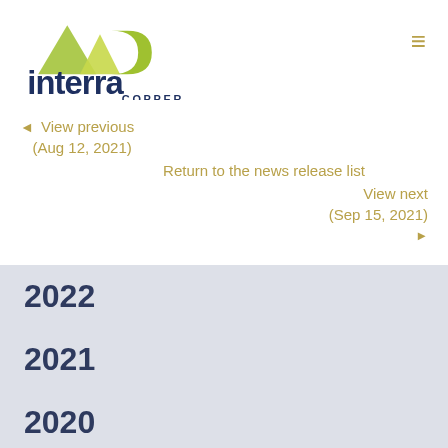[Figure (logo): Interra Copper company logo with green mountain/letter graphic and dark blue 'interra' wordmark with 'COPPER' below]
◄ View previous (Aug 12, 2021)
Return to the news release list
View next (Sep 15, 2021) ►
2022
2021
2020